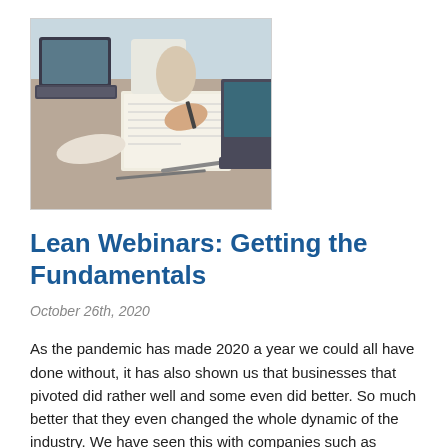[Figure (photo): Two people at a desk with laptops, one writing on paper with a pen, business/office setting]
Lean Webinars: Getting the Fundamentals
October 26th, 2020
As the pandemic has made 2020 a year we could all have done without, it has also shown us that businesses that pivoted did rather well and some even did better. So much better that they even changed the whole dynamic of the industry. We have seen this with companies such as Amazon, Microsoft, Apple. [...]